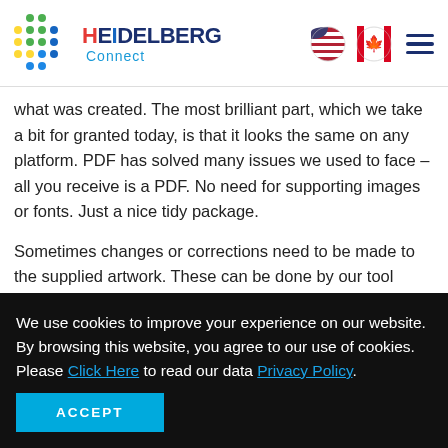HEIDELBERG Connect
what was created. The most brilliant part, which we take a bit for granted today, is that it looks the same on any platform. PDF has solved many issues we used to face – all you receive is a PDF. No need for supporting images or fonts. Just a nice tidy package.
Sometimes changes or corrections need to be made to the supplied artwork. These can be done by our tool
We use cookies to improve your experience on our website. By browsing this website, you agree to our use of cookies. Please Click Here to read our data Privacy Policy.
ACCEPT